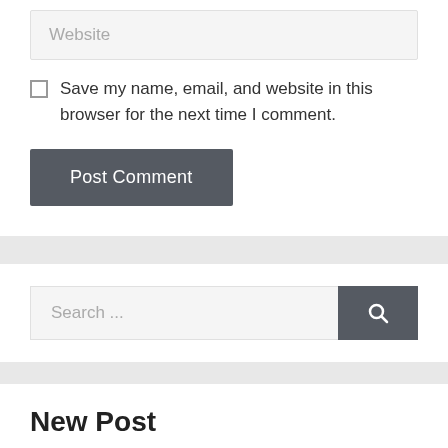Website
Save my name, email, and website in this browser for the next time I comment.
Post Comment
Search ...
New Post